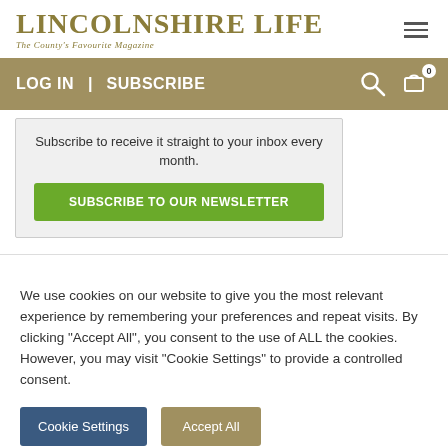LINCOLNSHIRE LIFE – The County's Favourite Magazine
LOG IN | SUBSCRIBE
Subscribe to receive it straight to your inbox every month.
SUBSCRIBE TO OUR NEWSLETTER
We use cookies on our website to give you the most relevant experience by remembering your preferences and repeat visits. By clicking "Accept All", you consent to the use of ALL the cookies. However, you may visit "Cookie Settings" to provide a controlled consent.
Cookie Settings
Accept All